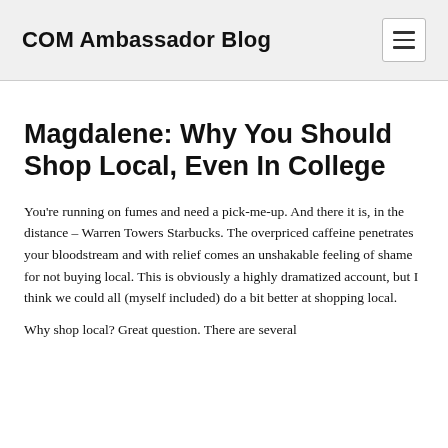COM Ambassador Blog
Magdalene: Why You Should Shop Local, Even In College
You're running on fumes and need a pick-me-up. And there it is, in the distance – Warren Towers Starbucks. The overpriced caffeine penetrates your bloodstream and with relief comes an unshakable feeling of shame for not buying local. This is obviously a highly dramatized account, but I think we could all (myself included) do a bit better at shopping local.
Why shop local? Great question. There are several